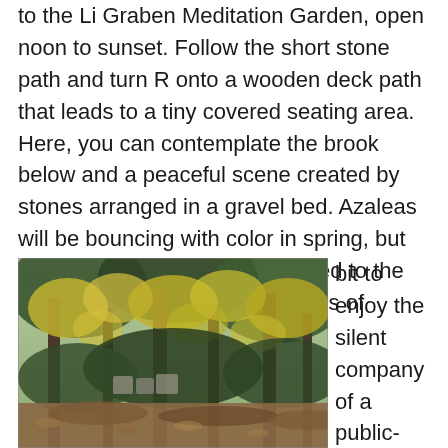to the Li Graben Meditation Garden, open noon to sunset. Follow the short stone path and turn R onto a wooden deck path that leads to a tiny covered seating area. Here, you can contemplate the brook below and a peaceful scene created by stones arranged in a gravel bed. Azaleas will be bouncing with color in spring, but at this time of year, you're treated to the brilliant yellow feathery blossoms of witchhazel (L)! Sit for a bit to enjoy the silent company of a public-spirited
[Figure (photo): A woodland scene with tall trees whose branches display yellow-green foliage, likely witchhazel in bloom. The forest floor is covered with fallen leaves. The image is taken in autumn or late season.]